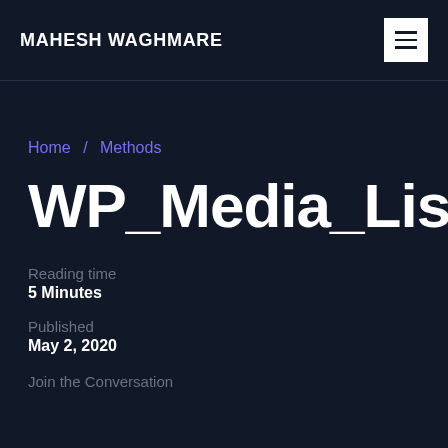MAHESH WAGHMARE
Home / Methods
WP_Media_List_Ta
Reading time
5 Minutes
Published
May 2, 2020
Join the Conversation